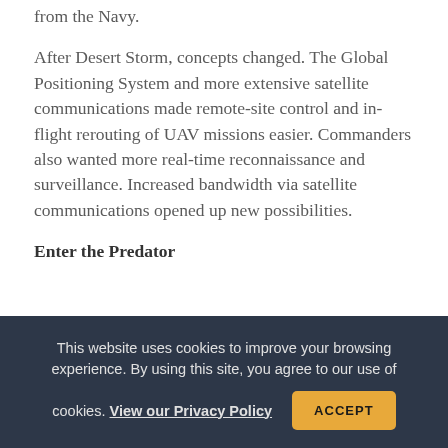from the Navy.
After Desert Storm, concepts changed. The Global Positioning System and more extensive satellite communications made remote-site control and in-flight rerouting of UAV missions easier. Commanders also wanted more real-time reconnaissance and surveillance. Increased bandwidth via satellite communications opened up new possibilities.
Enter the Predator
This website uses cookies to improve your browsing experience. By using this site, you agree to our use of cookies. View our Privacy Policy  ACCEPT